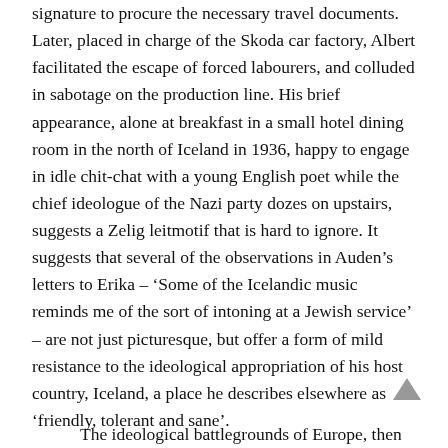signature to procure the necessary travel documents. Later, placed in charge of the Skoda car factory, Albert facilitated the escape of forced labourers, and colluded in sabotage on the production line. His brief appearance, alone at breakfast in a small hotel dining room in the north of Iceland in 1936, happy to engage in idle chit-chat with a young English poet while the chief ideologue of the Nazi party dozes on upstairs, suggests a Zelig leitmotif that is hard to ignore. It suggests that several of the observations in Auden’s letters to Erika – ‘Some of the Icelandic music reminds me of the sort of intoning at a Jewish service’ – are not just picturesque, but offer a form of mild resistance to the ideological appropriation of his host country, Iceland, a place he describes elsewhere as ‘friendly, tolerant and sane’.
The ideological battlegrounds of Europe, then